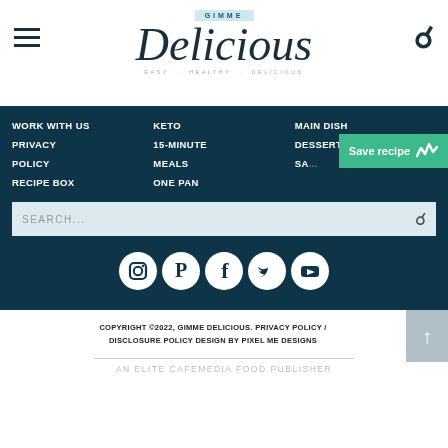GIMME Delicious · EASY · HEALTHY · DELICIOUS
WORK WITH US
PRIVACY POLICY
RECIPE BOX
KETO
15-MINUTE MEALS
ONE PAN
MAIN DISH
DESSERT
SA...
[Figure (screenshot): Save recipe button with Whisk icon]
[Figure (screenshot): Search bar with search input field]
[Figure (infographic): Social media icons row: Instagram, Pinterest, Facebook, Twitter, YouTube]
COPYRIGHT ©2022, GIMME DELICIOUS. PRIVACY POLICY / DISCLOSURE POLICY DESIGN BY PIXEL ME DESIGNS
AN ELITE CAFEMEDIA FOOD PUBLISHER